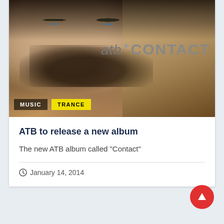[Figure (photo): Album cover for ATB Contact showing a close-up of a man's face with the text 'atb CONTACT' overlaid in the upper right, with tags 'MUSIC' and 'TRANCE' at the bottom left]
ATB to release a new album
The new ATB album called "Contact"
January 14, 2014